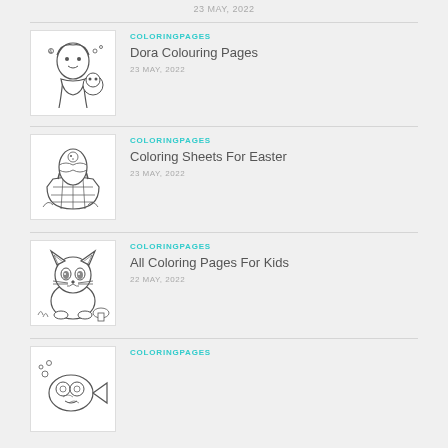23 MAY, 2022
COLORINGPAGES | Dora Colouring Pages | 23 MAY, 2022
COLORINGPAGES | Coloring Sheets For Easter | 23 MAY, 2022
COLORINGPAGES | All Coloring Pages For Kids | 22 MAY, 2022
COLORINGPAGES